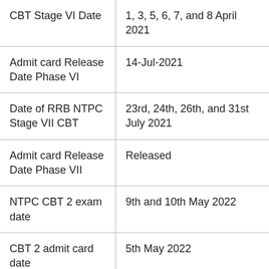| Event | Date |
| --- | --- |
| CBT Stage VI Date | 1, 3, 5, 6, 7, and 8 April 2021 |
| Admit card Release Date Phase VI | 14-Jul-2021 |
| Date of RRB NTPC Stage VII CBT | 23rd, 24th, 26th, and 31st July 2021 |
| Admit card Release Date Phase VII | Released |
| NTPC CBT 2 exam date | 9th and 10th May 2022 |
| CBT 2 admit card date | 5th May 2022 |